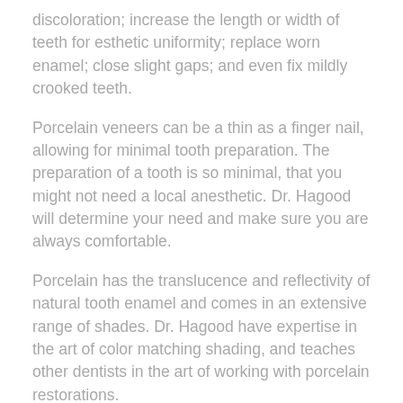discoloration; increase the length or width of teeth for esthetic uniformity; replace worn enamel; close slight gaps; and even fix mildly crooked teeth.
Porcelain veneers can be a thin as a finger nail, allowing for minimal tooth preparation. The preparation of a tooth is so minimal, that you might not need a local anesthetic. Dr. Hagood will determine your need and make sure you are always comfortable.
Porcelain has the translucence and reflectivity of natural tooth enamel and comes in an extensive range of shades. Dr. Hagood have expertise in the art of color matching shading, and teaches other dentists in the art of working with porcelain restorations.
Note: Porcelain is not limited to thin veneers. In fact, Dr. Hagood can expertly use porcelain for tooth-colored inlays and